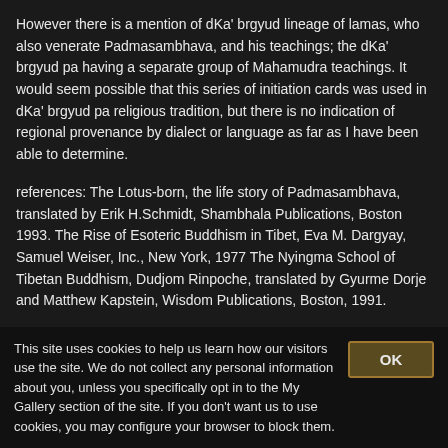However there is a mention of dKa' brgyud lineage of lamas, who also venerate Padmasambhava, and his teachings; the dKa' brgyud pa having a separate group of Mahamudra teachings. It would seem possible that this series of initiation cards was used in dKa' brgyud pa religious tradition, but there is no indication of regional provenance by dialect or language as far as I have been able to determine.
references: The Lotus-born, the life story of Padmasambhava, translated by Erik H.Schmidt, Shambhala Publications, Boston 1993. The Rise of Esoteric Buddhism in Tibet, Eva M. Dargyay, Samuel Weiser, Inc., New York, 1977 The Nyingma School of Tibetan Buddhism, Dudjom Rinpoche, translated by Gyurme Dorje and Matthew Kapstein, Wisdom Publications, Boston, 1991.
Dr. Amy Heller
Reverse of Painting
English Translation of Inscription: 8
two words, obliterated (bcudrug ?? numbers)
This site uses cookies to help us learn how our visitors use the site. We do not collect any personal information about you, unless you specifically opt in to the My Gallery section of the site. If you don't want us to use cookies, you may configure your browser to block them.